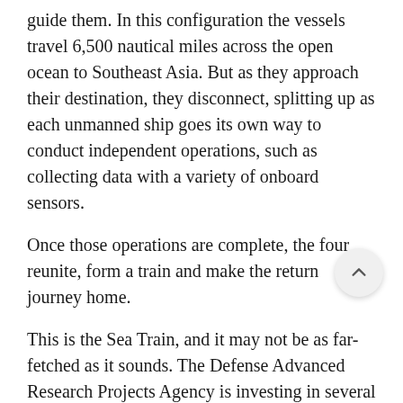guide them. In this configuration the vessels travel 6,500 nautical miles across the open ocean to Southeast Asia. But as they approach their destination, they disconnect, splitting up as each unmanned ship goes its own way to conduct independent operations, such as collecting data with a variety of onboard sensors.
Once those operations are complete, the four reunite, form a train and make the return journey home.
This is the Sea Train, and it may not be as far-fetched as it sounds. The Defense Advanced Research Projects Agency is investing in several technologies to make it a reality.
“The goal of the Sea Train program is to be able to